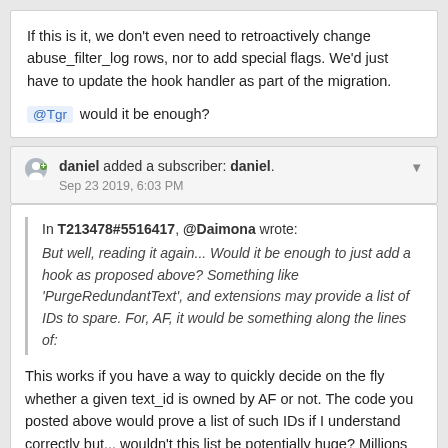If this is it, we don't even need to retroactively change abuse_filter_log rows, nor to add special flags. We'd just have to update the hook handler as part of the migration.
@Tgr would it be enough?
daniel added a subscriber: daniel. Sep 23 2019, 6:03 PM
In T213478#5516417, @Daimona wrote:
But well, reading it again... Would it be enough to just add a hook as proposed above? Something like 'PurgeRedundantText', and extensions may provide a list of IDs to spare. For, AF, it would be something along the lines of:
This works if you have a way to quickly decide on the fly whether a given text_id is owned by AF or not. The code you posted above would prove a list of such IDs if I understand correctly but... wouldn't this list be potentially huge? Millions of entries? That wouldn't work... we'd have to put them into a separate table, first. Maybe a